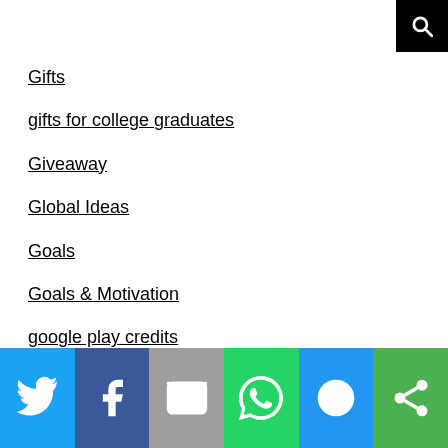Gifts
gifts for college graduates
Giveaway
Global Ideas
Goals
Goals & Motivation
google play credits
graduation
Green Dot
grocery rebate apps
grocery shopping
Social share bar: Twitter, Facebook, Email, WhatsApp, SMS, More